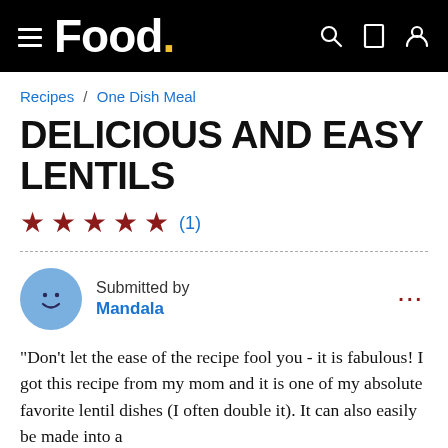Food.
Recipes / One Dish Meal
DELICIOUS AND EASY LENTILS
★★★★★ (1)
Submitted by Mandala
"Don't let the ease of the recipe fool you - it is fabulous! I got this recipe from my mom and it is one of my absolute favorite lentil dishes (I often double it). It can also easily be made into a